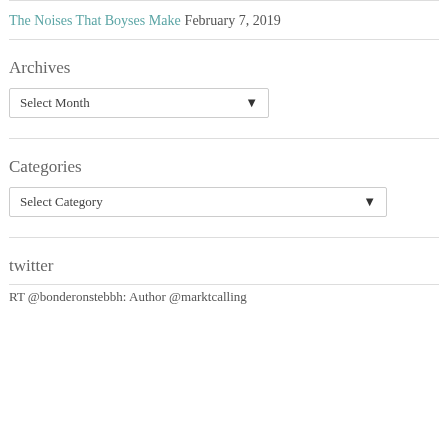The Noises That Boyses Make  February 7, 2019
Archives
Select Month
Categories
Select Category
twitter
RT @bonderonstebbh: Author @marktcalling